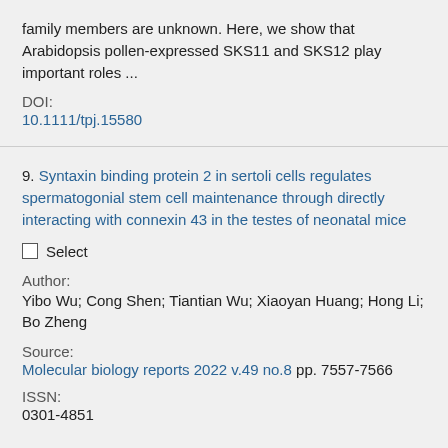family members are unknown. Here, we show that Arabidopsis pollen-expressed SKS11 and SKS12 play important roles ...
DOI:
10.1111/tpj.15580
9. Syntaxin binding protein 2 in sertoli cells regulates spermatogonial stem cell maintenance through directly interacting with connexin 43 in the testes of neonatal mice
Select
Author:
Yibo Wu; Cong Shen; Tiantian Wu; Xiaoyan Huang; Hong Li; Bo Zheng
Source:
Molecular biology reports 2022 v.49 no.8 pp. 7557-7566
ISSN:
0301-4851